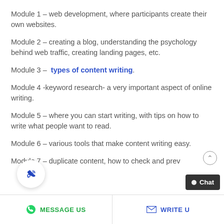Module 1 – web development, where participants create their own websites.
Module 2 – creating a blog, understanding the psychology behind web traffic, creating landing pages, etc.
Module 3 –  types of content writing.
Module 4 -keyword research- a very important aspect of online writing.
Module 5 – where you can start writing, with tips on how to write what people want to read.
Module 6 – various tools that make content writing easy.
Module 7 – duplicate content, how to check and prev
MESSAGE US   WRITE U   Chat